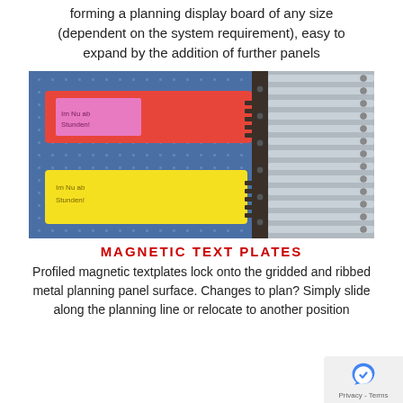forming a planning display board of any size (dependent on the system requirement), easy to expand by the addition of further panels
[Figure (photo): Close-up photo of a planning display board with profiled magnetic text plates. A red/orange magnetic plate and a yellow magnetic plate are locked onto a blue gridded and ribbed metal planning panel. A dark vertical divider separates the left panel from a ribbed grey panel on the right.]
MAGNETIC TEXT PLATES
Profiled magnetic textplates lock onto the gridded and ribbed metal planning panel surface. Changes to plan? Simply slide along the planning line or relocate to another position